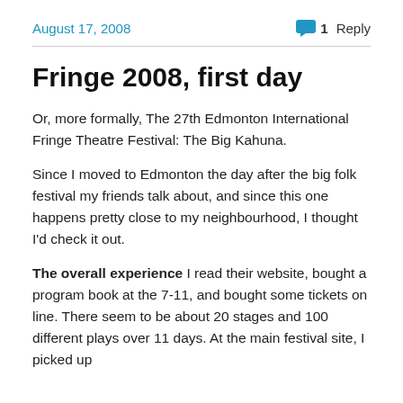August 17, 2008   1 Reply
Fringe 2008, first day
Or, more formally, The 27th Edmonton International Fringe Theatre Festival: The Big Kahuna.
Since I moved to Edmonton the day after the big folk festival my friends talk about, and since this one happens pretty close to my neighbourhood, I thought I'd check it out.
The overall experience I read their website, bought a program book at the 7-11, and bought some tickets on line. There seem to be about 20 stages and 100 different plays over 11 days. At the main festival site, I picked up